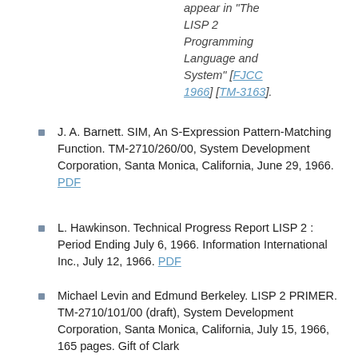appear in "The LISP 2 Programming Language and System" [FJCC 1966] [TM-3163].
J. A. Barnett. SIM, An S-Expression Pattern-Matching Function. TM-2710/260/00, System Development Corporation, Santa Monica, California, June 29, 1966. PDF
L. Hawkinson. Technical Progress Report LISP 2 : Period Ending July 6, 1966. Information International Inc., July 12, 1966. PDF
Michael Levin and Edmund Berkeley. LISP 2 PRIMER. TM-2710/101/00 (draft), System Development Corporation, Santa Monica, California, July 15, 1966, 165 pages. Gift of Clark